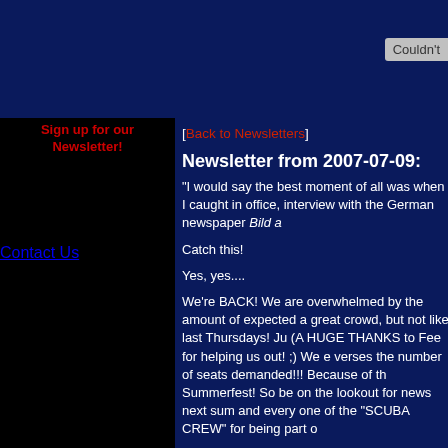[Figure (screenshot): Dark blue top banner area with a grey 'Couldn't' button in top right]
Home
Shows
News
Music
Goods
Press
Pictures
Links
Contact Us
Sign up for our Newsletter!
[Back to Newsletters]
Newsletter from 2007-07-09:
"I would say the best moment of all was when I caught in office, interview with the German newspaper Bild a
Catch this!
Yes, yes....
We're BACK!  We are overwhelmed by the amount of expected a great crowd, but not like last Thursdays!  Ju (A HUGE THANKS to Fee for helping us out! ;)  We e verses the number of seats demanded!!!  Because of th Summerfest!  So be on the lookout for news next sum and every one of the "SCUBA CREW" for being part o
Now, we all know it's short notice but we're trying...